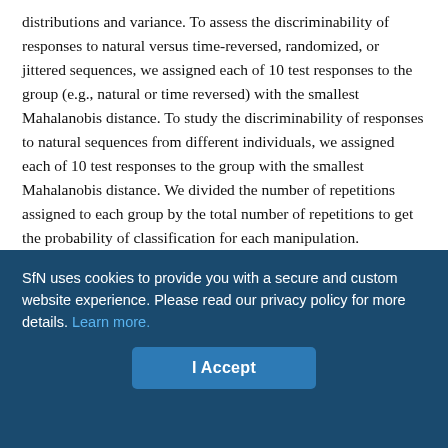distributions and variance. To assess the discriminability of responses to natural versus time-reversed, randomized, or jittered sequences, we assigned each of 10 test responses to the group (e.g., natural or time reversed) with the smallest Mahalanobis distance. To study the discriminability of responses to natural sequences from different individuals, we assigned each of 10 test responses to the group with the smallest Mahalanobis distance. We divided the number of repetitions assigned to each group by the total number of repetitions to get the probability of classification for each manipulation.

Next, we investigated how classification performance may be affected by pooling the responses of multiple neurons together. From
SfN uses cookies to provide you with a secure and custom website experience. Please read our privacy policy for more details. Learn more.